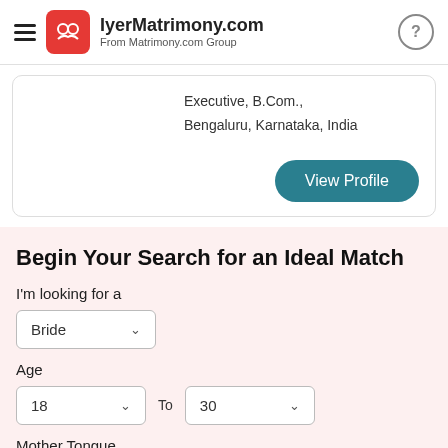IyerMatrimony.com — From Matrimony.com Group
Executive, B.Com., Bengaluru, Karnataka, India
View Profile
Begin Your Search for an Ideal Match
I'm looking for a
Bride
Age
18 To 30
Mother Tongue